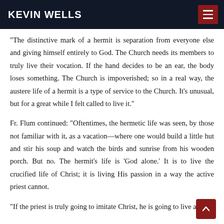KEVIN WELLS
“The distinctive mark of a hermit is separation from everyone else and giving himself entirely to God. The Church needs its members to truly live their vocation. If the hand decides to be an ear, the body loses something. The Church is impoverished; so in a real way, the austere life of a hermit is a type of service to the Church. It’s unusual, but for a great while I felt called to live it.”
Fr. Flum continued: “Oftentimes, the hermetic life was seen, by those not familiar with it, as a vacation—where one would build a little hut and stir his soup and watch the birds and sunrise from his wooden porch. But no. The hermit’s life is ‘God alone.’ It is to live the crucified life of Christ; it is living His passion in a way the active priest cannot.
“If the priest is truly going to imitate Christ, he is going to live a